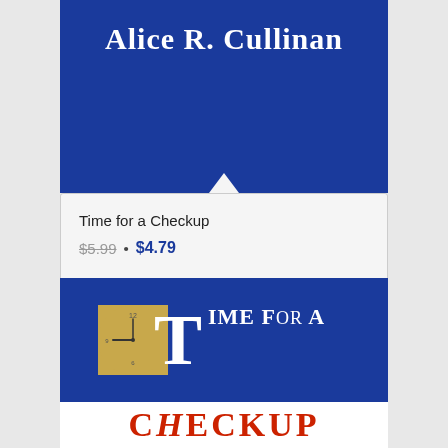[Figure (photo): Top portion of a book cover with dark blue background showing author name 'Alice R. Cullinan' in white serif font]
Time for a Checkup
$5.99 • $4.79
Add to cart   Show Details
[Figure (photo): Bottom book cover for 'Time for a Checkup' by Alice R. Cullinan, with dark blue background, a gold clock circle, large white 'T' letter, white text 'IME FOR A', and red 'CHECKUP' on white band]